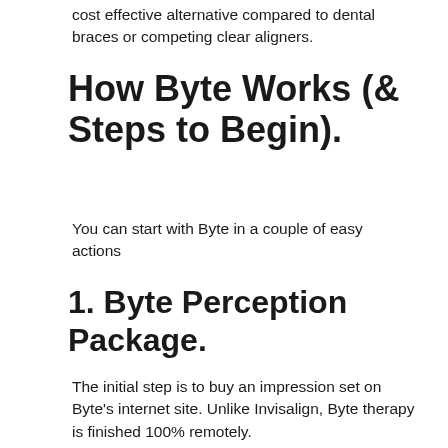cost effective alternative compared to dental braces or competing clear aligners.
How Byte Works (& Steps to Begin).
You can start with Byte in a couple of easy actions
1. Byte Perception Package.
The initial step is to buy an impression set on Byte's internet site. Unlike Invisalign, Byte therapy is finished 100% remotely.